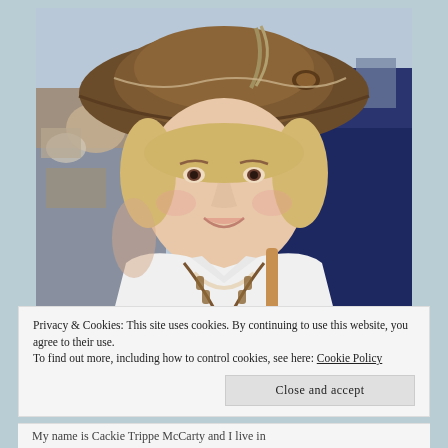[Figure (photo): A smiling older woman with blonde hair wearing a decorative brown wide-brimmed hat with feathers and embellishments, a white blouse, and layered necklaces including pearls and a long chain. Background shows an antique/collectibles market with blue tablecloths and various displayed items.]
Privacy & Cookies: This site uses cookies. By continuing to use this website, you agree to their use.
To find out more, including how to control cookies, see here: Cookie Policy
Close and accept
My name is Cackie Trippe McCarty and I live in